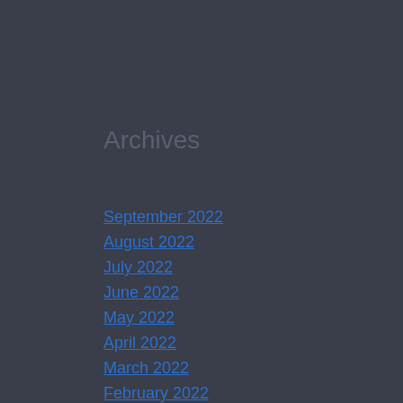Archives
September 2022
August 2022
July 2022
June 2022
May 2022
April 2022
March 2022
February 2022
January 2022
Categories
Gambling